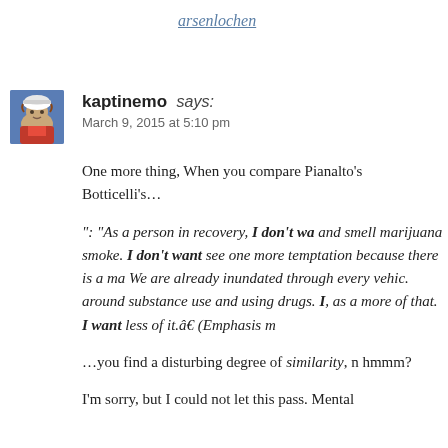arsenlochen
kaptinemo says:
March 9, 2015 at 5:10 pm
One more thing, When you compare Pianalto's Botticelli’s…
“: “As a person in recovery, I don’t wa and smell marijuana smoke. I don’t want see one more temptation because there is a ma We are already inundated through every vehic. around substance use and using drugs. I, as a more of that. I want less of it.” (Emphasis m
…you find a disturbing degree of similarity, n hmmm?
I’m sorry, but I could not let this pass. Mental